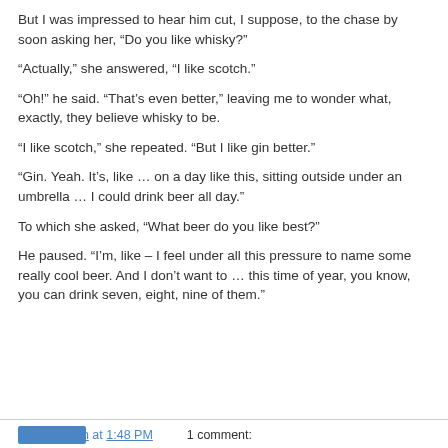But I was impressed to hear him cut, I suppose, to the chase by soon asking her, “Do you like whisky?”
“Actually,” she answered, “I like scotch.”
“Oh!” he said. “That’s even better,” leaving me to wonder what, exactly, they believe whisky to be.
“I like scotch,” she repeated. “But I like gin better.”
“Gin. Yeah. It’s, like … on a day like this, sitting outside under an umbrella … I could drink beer all day.”
To which she asked, “What beer do you like best?”
He paused. “I’m, like – I feel under all this pressure to name some really cool beer. And I don’t want to … this time of year, you know, you can drink seven, eight, nine of them.”
B. A. Nilsson at 1:48 PM    1 comment: